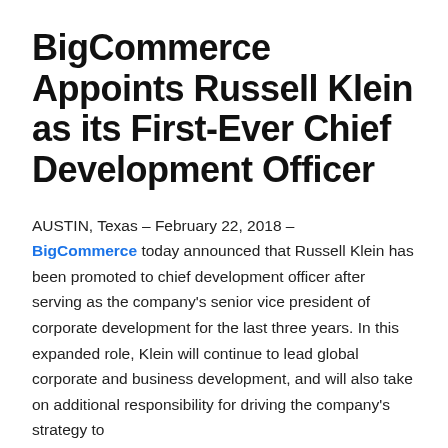BigCommerce Appoints Russell Klein as its First-Ever Chief Development Officer
AUSTIN, Texas – February 22, 2018 – BigCommerce today announced that Russell Klein has been promoted to chief development officer after serving as the company's senior vice president of corporate development for the last three years. In this expanded role, Klein will continue to lead global corporate and business development, and will also take on additional responsibility for driving the company's strategy to